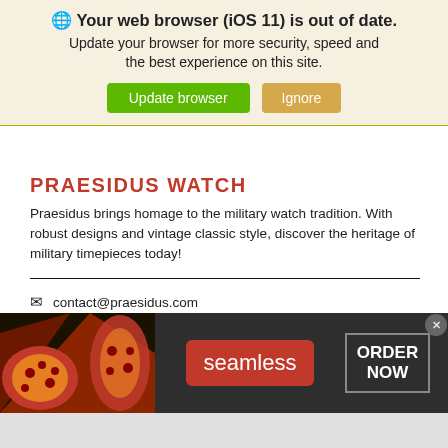🌐 Your web browser (iOS 11) is out of date. Update your browser for more security, speed and the best experience on this site.
PRAESIDUS WATCH
Praesidus brings homage to the military watch tradition. With robust designs and vintage classic style, discover the heritage of military timepieces today!
contact@praesidus.com
+1 212-564-8314
[Figure (screenshot): Seamless food delivery advertisement banner with pizza image, seamless logo button in red, and ORDER NOW button]